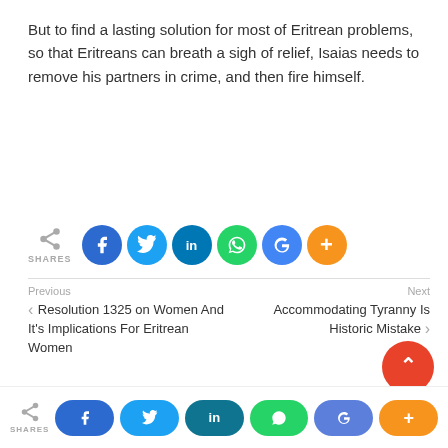But to find a lasting solution for most of Eritrean problems, so that Eritreans can breath a sigh of relief, Isaias needs to remove his partners in crime, and then fire himself.
[Figure (infographic): Social share buttons: Facebook (blue circle), Twitter (blue circle), LinkedIn (dark blue circle), WhatsApp (green circle), Google (blue circle), More/Plus (orange circle). Below labeled SHARES with a share icon.]
Previous
‹ Resolution 1325 on Women And It's Implications For Eritrean Women
Next
Accommodating Tyranny Is Historic Mistake ›
Related Posts
[Figure (infographic): Bottom social share bar with oval buttons: Facebook, Twitter, LinkedIn, WhatsApp, Google, More. Share icon and SHARES label on left.]